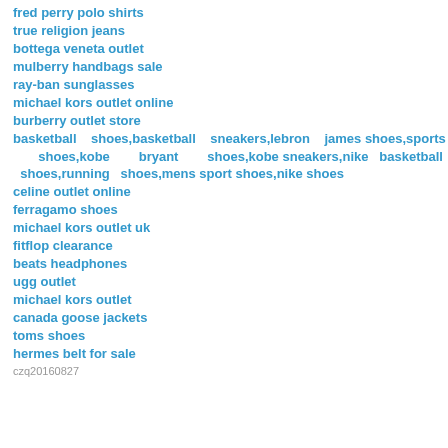fred perry polo shirts
true religion jeans
bottega veneta outlet
mulberry handbags sale
ray-ban sunglasses
michael kors outlet online
burberry outlet store
basketball   shoes,basketball   sneakers,lebron   james shoes,sports      shoes,kobe      bryant      shoes,kobe sneakers,nike  basketball  shoes,running  shoes,mens sport shoes,nike shoes
celine outlet online
ferragamo shoes
michael kors outlet uk
fitflop clearance
beats headphones
ugg outlet
michael kors outlet
canada goose jackets
toms shoes
hermes belt for sale
czq20160827